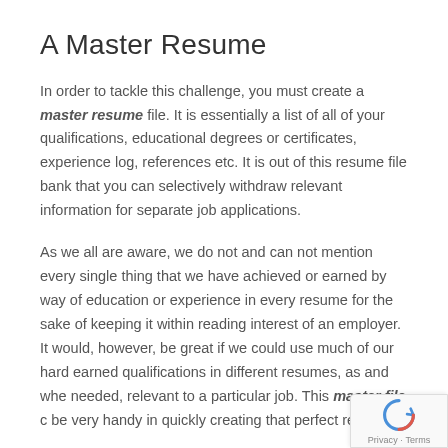A Master Resume
In order to tackle this challenge, you must create a master resume file. It is essentially a list of all of your qualifications, educational degrees or certificates, experience log, references etc. It is out of this resume file bank that you can selectively withdraw relevant information for separate job applications.
As we all are aware, we do not and can not mention every single thing that we have achieved or earned by way of education or experience in every resume for the sake of keeping it within reading interest of an employer. It would, however, be great if we could use much of our hard earned qualifications in different resumes, as and when needed, relevant to a particular job. This master file can be very handy in quickly creating that perfect resume